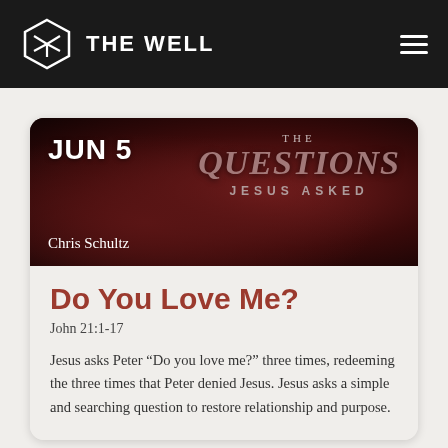THE WELL
[Figure (illustration): Sermon series banner image with dark red/maroon background. Shows date 'JUN 5', series title 'THE QUESTIONS JESUS ASKED', and speaker name 'Chris Schultz'.]
Do You Love Me?
John 21:1-17
Jesus asks Peter “Do you love me?” three times, redeeming the three times that Peter denied Jesus. Jesus asks a simple and searching question to restore relationship and purpose.